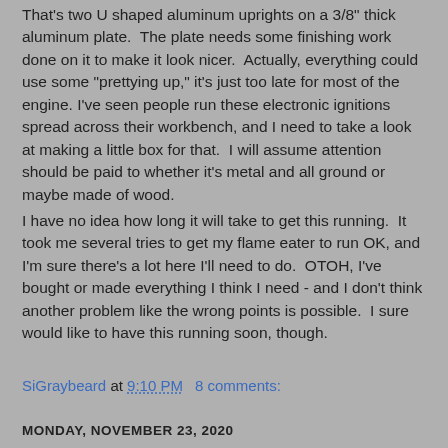That's two U shaped aluminum uprights on a 3/8" thick aluminum plate.  The plate needs some finishing work done on it to make it look nicer.  Actually, everything could use some "prettying up," it's just too late for most of the engine.  I've seen people run these electronic ignitions spread across their workbench, and I need to take a look at making a little box for that.  I will assume attention should be paid to whether it's metal and all ground or maybe made of wood.
I have no idea how long it will take to get this running.  It took me several tries to get my flame eater to run OK, and I'm sure there's a lot here I'll need to do.  OTOH, I've bought or made everything I think I need - and I don't think another problem like the wrong points is possible.  I sure would like to have this running soon, though.
SiGraybeard at 9:10 PM    8 comments:
MONDAY, NOVEMBER 23, 2020